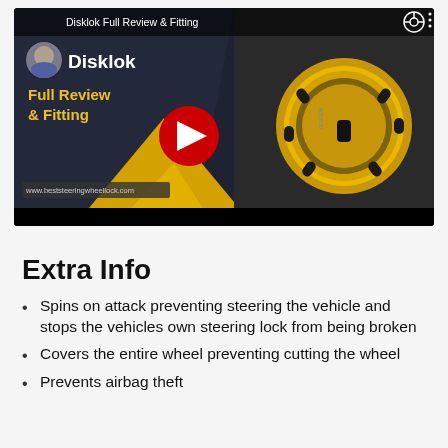[Figure (screenshot): YouTube video thumbnail for 'Disklok Full Review & Fitting' showing a man, the Disklok product (yellow steering wheel lock), and a play button overlay. Website www.beststeeringwheellock.com shown at bottom left.]
Extra Info
Spins on attack preventing steering the vehicle and stops the vehicles own steering lock from being broken
Covers the entire wheel preventing cutting the wheel
Prevents airbag theft